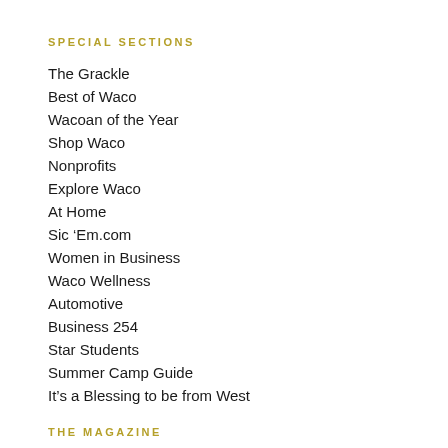SPECIAL SECTIONS
The Grackle
Best of Waco
Wacoan of the Year
Shop Waco
Nonprofits
Explore Waco
At Home
Sic ‘Em.com
Women in Business
Waco Wellness
Automotive
Business 254
Star Students
Summer Camp Guide
It’s a Blessing to be from West
THE MAGAZINE
The Cover Gallery